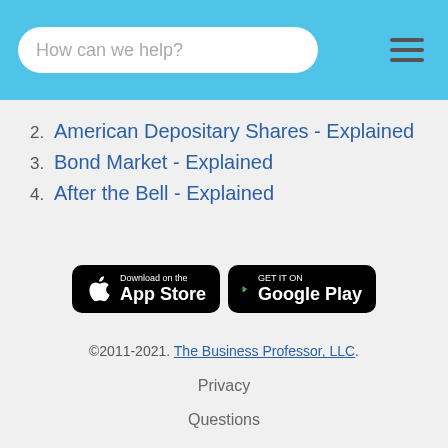How can we help?
2. American Depositary Shares - Explained
3. Bond Market - Explained
4. After the Bell - Explained
[Figure (other): Download on the App Store button and Get it on Google Play button]
©2011-2021. The Business Professor, LLC.
Privacy
Questions